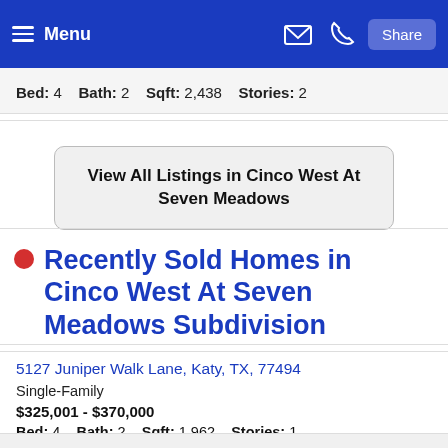Menu | Share
Bed: 4    Bath: 2    Sqft: 2,438    Stories: 2
View All Listings in Cinco West At Seven Meadows
Recently Sold Homes in Cinco West At Seven Meadows Subdivision
5127 Juniper Walk Lane, Katy, TX, 77494
Single-Family
$325,001 - $370,000
Bed: 4    Bath: 2    Sqft: 1,962    Stories: 1